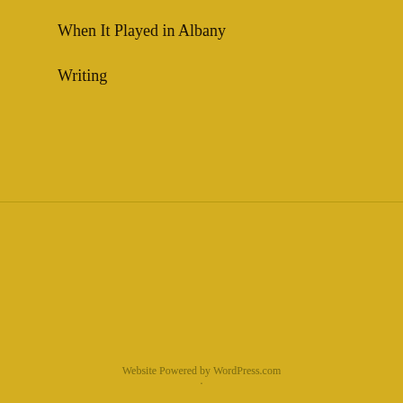When It Played in Albany
Writing
THANK YOU FOR VISITING MY BLOG. YOU ROCK.
408,867 visits.
Website Powered by WordPress.com